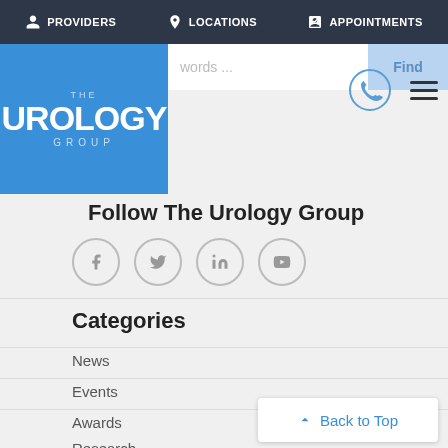PROVIDERS | LOCATIONS | APPOINTMENTS
[Figure (logo): The Urology Group logo — blue square with white text]
Follow The Urology Group
[Figure (infographic): Social media icons: Facebook, Twitter, LinkedIn, YouTube — circular outlined icons]
Categories
News
Events
Awards
Research